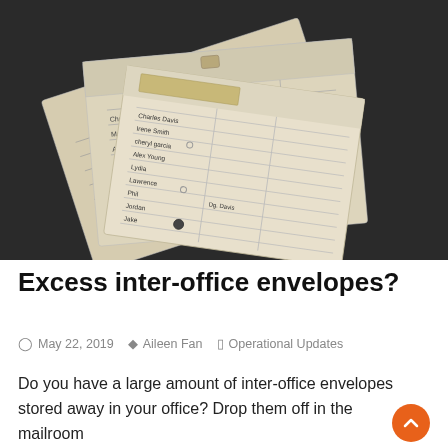[Figure (photo): Photo of multiple inter-office envelopes with routing lines stacked on a dark surface. The envelopes are cream/manila colored with printed grid lines and handwritten names/addresses visible.]
Excess inter-office envelopes?
May 22, 2019   Aileen Fan   Operational Updates
Do you have a large amount of inter-office envelopes stored away in your office? Drop them off in the mailroom